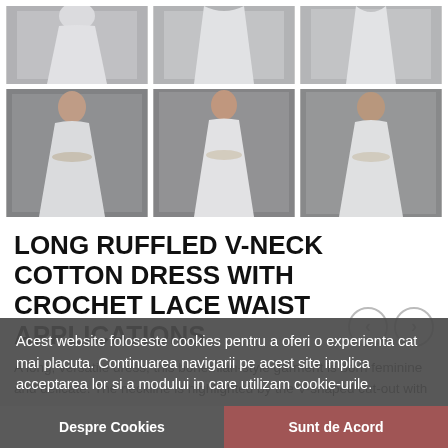[Figure (photo): Six thumbnail photos of a white long cotton dress with ruffled V-neck in a 2-row, 3-column grid. Models wearing the dress photographed outdoors.]
LONG RUFFLED V-NECK COTTON DRESS WITH CROCHET LACE WAIST APPLICATIONS
Acest website foloseste cookies pentru a oferi o experienta cat mai placuta. Continuarea navigarii pe acest site implica acceptarea lor si a modului in care utilizam cookie-urile.
Acest website foloseste cookies pentru a oferi o experienta cat mai placuta. Continuarea navigarii pe acest site implica acceptarea lor si a modului in care utilizam cookie-urile. Despre Cookies / Sunt de Acord
A long, versatile dress, this bohemian-style garment is both feminine and delicate. The neckline is highlighted by the V-shaped cut-out with wide ruffles, applied on the chest, which continue on the shoulders and... semi-sheer crochet lace inserts while the tiered floor-sweeping skirt